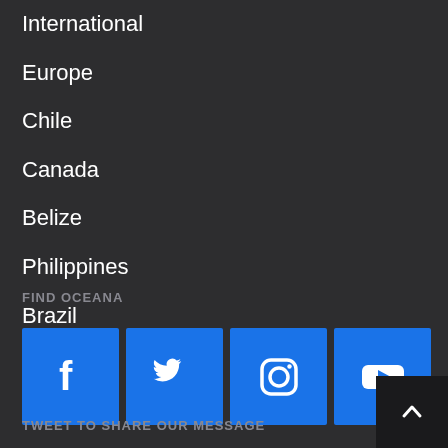International
Europe
Chile
Canada
Belize
Philippines
Brazil
Peru
Mexico
FIND OCEANA
[Figure (other): Social media icons: Facebook, Twitter, Instagram, YouTube — blue square buttons]
TWEET TO SHARE OUR MESSAGE